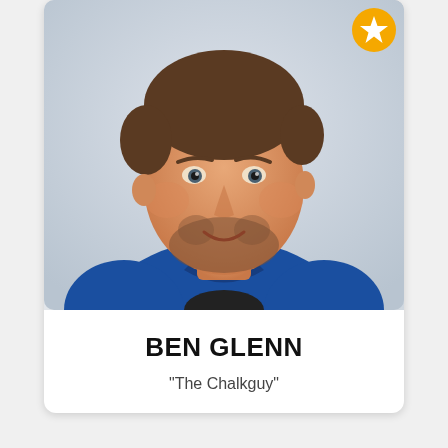[Figure (photo): Headshot of Ben Glenn, a man with short brown hair and a beard, wearing a blue polo shirt, smiling slightly against a light gray background. A gold star badge icon appears in the upper right corner of the photo card.]
BEN GLENN
"The Chalkguy"